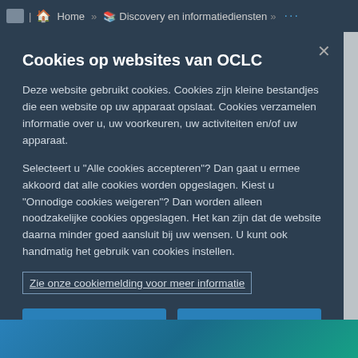Home » Discovery en informatiediensten »
Cookies op websites van OCLC
Deze website gebruikt cookies. Cookies zijn kleine bestandjes die een website op uw apparaat opslaat. Cookies verzamelen informatie over u, uw voorkeuren, uw activiteiten en/of uw apparaat.
Selecteert u "Alle cookies accepteren"? Dan gaat u ermee akkoord dat alle cookies worden opgeslagen. Kiest u "Onnodige cookies weigeren"? Dan worden alleen noodzakelijke cookies opgeslagen. Het kan zijn dat de website daarna minder goed aansluit bij uw wensen. U kunt ook handmatig het gebruik van cookies instellen.
Zie onze cookiemelding voor meer informatie
Alle cookies accepteren
Onnodige cookies weigeren
Cookie-instellingen aanpassen